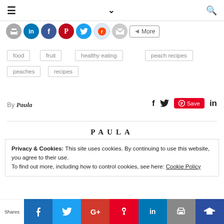Navigation bar with hamburger menu, chevron dropdown, and search icon
[Figure (other): Social share icon buttons row: print, LinkedIn, Facebook, Pinterest, Twitter, Reddit, email, and More button]
food
fruit
healthy eating
peach recipes
peaches
recipes
By Paula
[Figure (other): Social share icons: Facebook, Twitter, Pinterest Save button, LinkedIn]
PAULA
Privacy & Cookies: This site uses cookies. By continuing to use this website, you agree to their use.
To find out more, including how to control cookies, see here: Cookie Policy
Shares | Facebook | Twitter | G+ | Pinterest | LinkedIn | Print | Crown